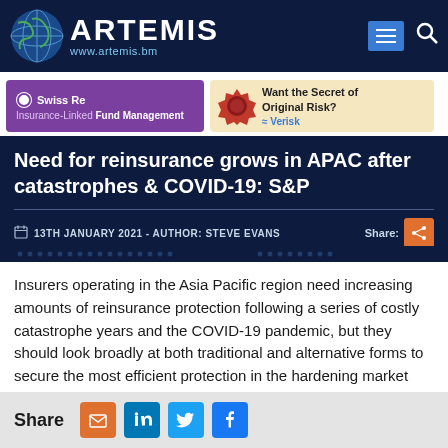ARTEMIS www.artemis.bm
[Figure (logo): Swiss Re Insurance-Linked Fund Management advertisement banner (purple)]
[Figure (advertisement): Verisk - Want the Secret of Original Risk? advertisement banner]
Need for reinsurance grows in APAC after catastrophes & COVID-19: S&P
13TH JANUARY 2021 - AUTHOR: STEVE EVANS
Share:
Insurers operating in the Asia Pacific region need increasing amounts of reinsurance protection following a series of costly catastrophe years and the COVID-19 pandemic, but they should look broadly at both traditional and alternative forms to secure the most efficient protection in the hardening market environment, according to rating agency S&P.
Share